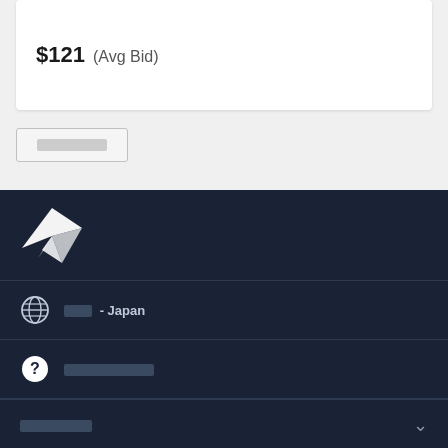$121  (Avg Bid)
[Figure (other): Redacted button with censored label]
[Figure (logo): Minerva/paper plane logo in white on dark navy background]
??? - Japan
?????????
????????